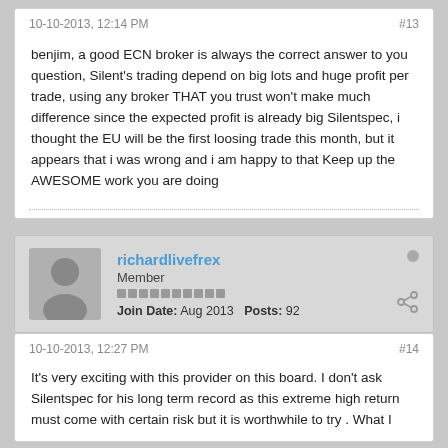10-10-2013, 12:14 PM
#13
benjim, a good ECN broker is always the correct answer to you question, Silent's trading depend on big lots and huge profit per trade, using any broker THAT you trust won't make much difference since the expected profit is already big Silentspec, i thought the EU will be the first loosing trade this month, but it appears that i was wrong and i am happy to that Keep up the AWESOME work you are doing
richardlivefrex
Member
Join Date: Aug 2013  Posts: 92
10-10-2013, 12:27 PM
#14
It's very exciting with this provider on this board. I don't ask Silentspec for his long term record as this extreme high return must come with certain risk but it is worthwhile to try . What I